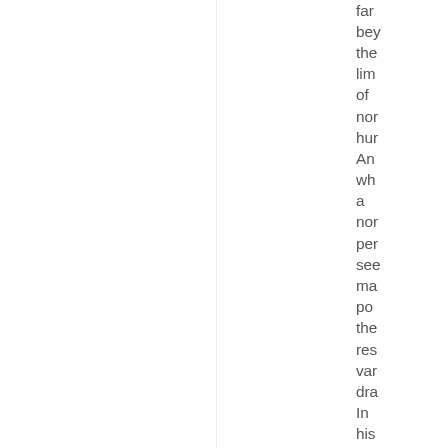far beyond the limits of normal human. And what a normal person sees may power the rest var dra In his case he has bo